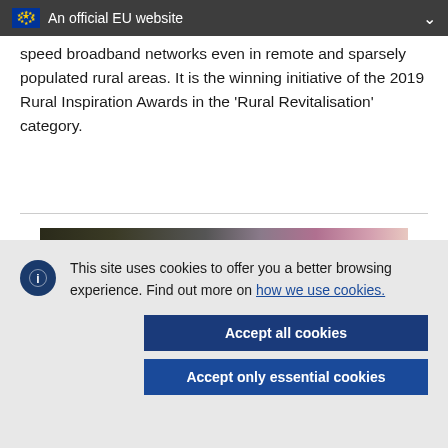An official EU website
speed broadband networks even in remote and sparsely populated rural areas. It is the winning initiative of the 2019 Rural Inspiration Awards in the 'Rural Revitalisation' category.
[Figure (photo): Partial view of a photo showing people, partially obscured by cookie consent overlay]
This site uses cookies to offer you a better browsing experience. Find out more on how we use cookies.
Accept all cookies
Accept only essential cookies